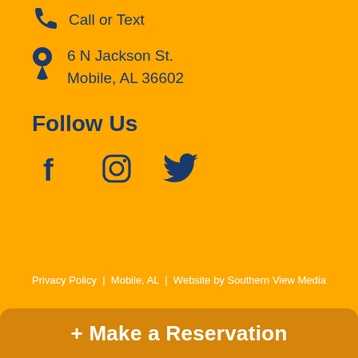Call or Text
6 N Jackson St.
Mobile, AL 36602
Follow Us
[Figure (illustration): Social media icons: Facebook, Instagram, Twitter]
Privacy Policy  |  Mobile, AL  |  Website by Southern View Media
+ Make a Reservation